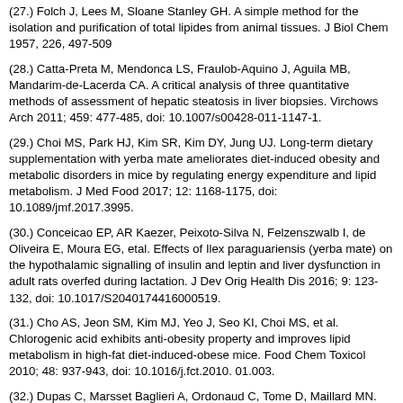(27.) Folch J, Lees M, Sloane Stanley GH. A simple method for the isolation and purification of total lipides from animal tissues. J Biol Chem 1957, 226, 497-509
(28.) Catta-Preta M, Mendonca LS, Fraulob-Aquino J, Aguila MB, Mandarim-de-Lacerda CA. A critical analysis of three quantitative methods of assessment of hepatic steatosis in liver biopsies. Virchows Arch 2011; 459: 477-485, doi: 10.1007/s00428-011-1147-1.
(29.) Choi MS, Park HJ, Kim SR, Kim DY, Jung UJ. Long-term dietary supplementation with yerba mate ameliorates diet-induced obesity and metabolic disorders in mice by regulating energy expenditure and lipid metabolism. J Med Food 2017; 12: 1168-1175, doi: 10.1089/jmf.2017.3995.
(30.) Conceicao EP, AR Kaezer, Peixoto-Silva N, Felzenszwalb I, de Oliveira E, Moura EG, etal. Effects of Ilex paraguariensis (yerba mate) on the hypothalamic signalling of insulin and leptin and liver dysfunction in adult rats overfed during lactation. J Dev Orig Health Dis 2016; 9: 123-132, doi: 10.1017/S2040174416000519.
(31.) Cho AS, Jeon SM, Kim MJ, Yeo J, Seo KI, Choi MS, et al. Chlorogenic acid exhibits anti-obesity property and improves lipid metabolism in high-fat diet-induced-obese mice. Food Chem Toxicol 2010; 48: 937-943, doi: 10.1016/j.fct.2010. 01.003.
(32.) Dupas C, Marsset Baglieri A, Ordonaud C, Tome D, Maillard MN. Chlorogenic acid is poorly absorbed, independently of the food matrix: A Caco-2 cells and rat chronic absorption study. Mol Nutr Food Res 2006; 50: 1053-1060, doi: 10.1002/mnfr.200600034.